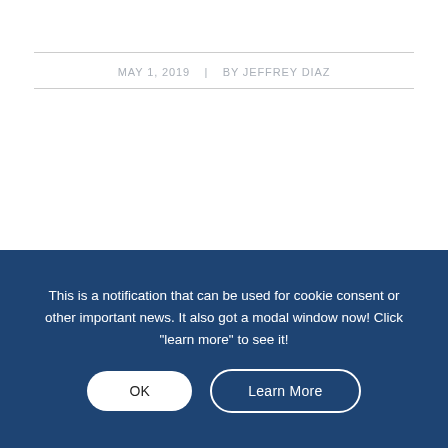MAY 1, 2019   BY JEFFREY DIAZ
Escorts in Coventry – How to Find a Beautiful Escort
This is a notification that can be used for cookie consent or other important news. It also got a modal window now! Click "learn more" to see it!